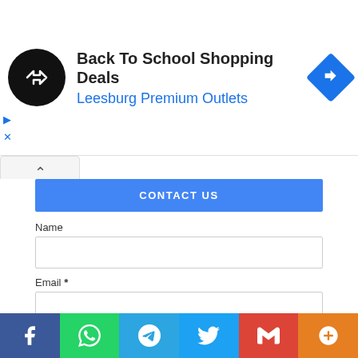[Figure (screenshot): Advertisement banner: black circular logo with double arrow icon, heading 'Back To School Shopping Deals', subheading 'Leesburg Premium Outlets' in blue, blue diamond navigation icon top right, small play and close controls bottom left]
CONTACT US
Name
Email *
Message *
[Figure (screenshot): Social sharing bar with Facebook (blue), WhatsApp (green), Telegram (light blue), Twitter (blue), Gmail (red), and More (orange) buttons]